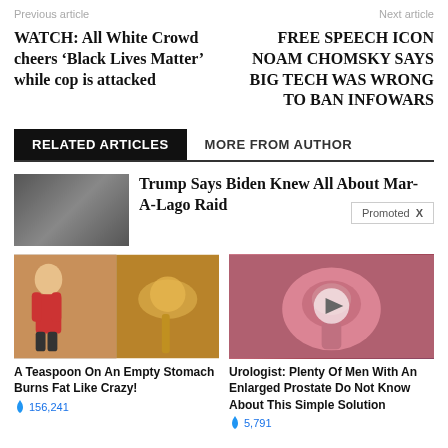Previous article    Next article
WATCH: All White Crowd cheers ‘Black Lives Matter’ while cop is attacked
FREE SPEECH ICON NOAM CHOMSKY SAYS BIG TECH WAS WRONG TO BAN INFOWARS
RELATED ARTICLES    MORE FROM AUTHOR
[Figure (photo): Thumbnail image of article about Trump]
Trump Says Biden Knew All About Mar-A-Lago Raid
Promoted X
[Figure (photo): Advertisement image: A teaspoon and spice on empty stomach]
A Teaspoon On An Empty Stomach Burns Fat Like Crazy!
🔥 156,241
[Figure (photo): Advertisement image: Medical illustration for prostate]
Urologist: Plenty Of Men With An Enlarged Prostate Do Not Know About This Simple Solution
🔥 5,791